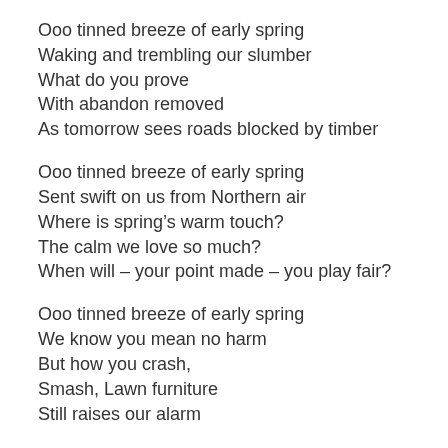Ooo tinned breeze of early spring
Waking and trembling our slumber
What do you prove
With abandon removed
As tomorrow sees roads blocked by timber

Ooo tinned breeze of early spring
Sent swift on us from Northern air
Where is spring’s warm touch?
The calm we love so much?
When will – your point made – you play fair?

Ooo tinned breeze of early spring
We know you mean no harm
But how you crash,
Smash, Lawn furniture
Still raises our alarm